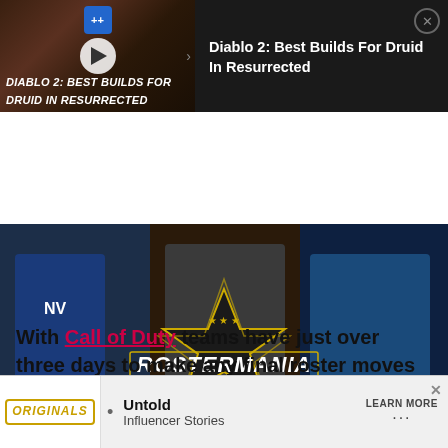[Figure (screenshot): Video ad thumbnail for 'Diablo 2: Best Builds For Druid In Resurrected' with play button, close button, and title text on dark background]
[Figure (photo): MLG Rostermania image showing esports players and the Rostermania logo with stars]
With Call of Duty teams have just over three days to make any final roster moves before their squads are locked for Pro League Finals and the CWL Cham
[Figure (screenshot): Bottom advertisement banner showing Originals logo, 'Untold Influencer Stories', and 'LEARN MORE' button, with an X close button]